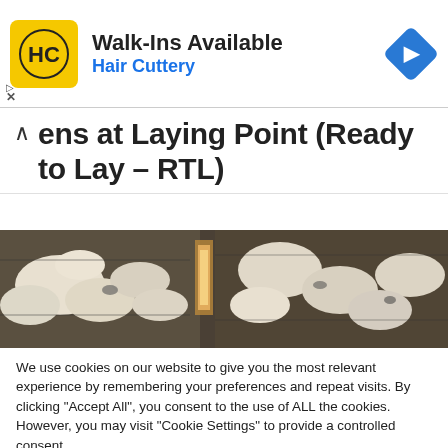[Figure (logo): Hair Cuttery advertisement banner with HC logo on yellow background, 'Walk-Ins Available' text, 'Hair Cuttery' in blue, and a blue diamond navigation icon]
ens at Laying Point (Ready to Lay – RTL)
[Figure (photo): Photograph of white chickens/hens in a poultry facility with cages and lighting]
We use cookies on our website to give you the most relevant experience by remembering your preferences and repeat visits. By clicking "Accept All", you consent to the use of ALL the cookies. However, you may visit "Cookie Settings" to provide a controlled consent.
Cookie Settings | Accept All